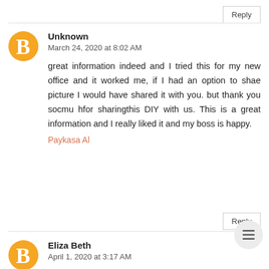Reply
[Figure (illustration): Orange circular avatar with white blogger 'B' icon for user Unknown]
Unknown
March 24, 2020 at 8:02 AM
great information indeed and I tried this for my new office and it worked me, if I had an option to shae picture I would have shared it with you. but thank you socmu hfor sharingthis DIY with us. This is a great information and I really liked it and my boss is happy.
Paykasa Al
Reply
[Figure (illustration): Hamburger menu button - circular grey button with three horizontal lines]
[Figure (illustration): Orange circular avatar with white blogger 'B' icon for user Eliza Beth]
Eliza Beth
April 1, 2020 at 3:17 AM
Positive site, where did u come up with the